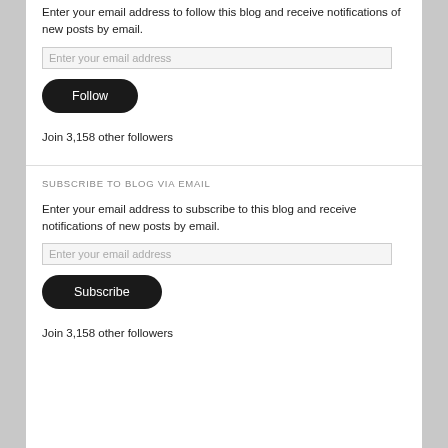Enter your email address to follow this blog and receive notifications of new posts by email.
[Figure (other): Email address input field with placeholder text 'Enter your email address']
[Figure (other): Follow button - dark rounded pill button]
Join 3,158 other followers
SUBSCRIBE TO BLOG VIA EMAIL
Enter your email address to subscribe to this blog and receive notifications of new posts by email.
[Figure (other): Email address input field with placeholder text 'Enter your email address']
[Figure (other): Subscribe button - dark rounded pill button]
Join 3,158 other followers